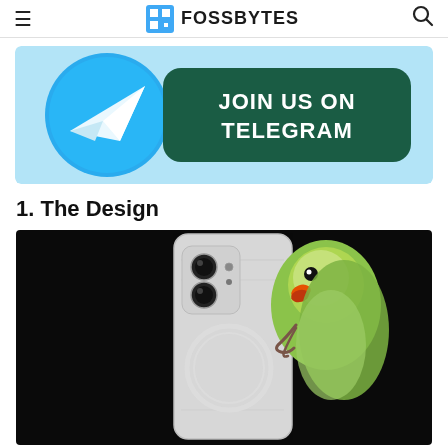≡  FOSSBYTES  🔍
[Figure (illustration): Telegram promotional banner with cyan background, Telegram logo (blue circle with white paper plane), and dark green rounded rectangle with bold white text 'JOIN US ON TELEGRAM']
1. The Design
[Figure (photo): Photo of a transparent/clear-back smartphone (Nothing Phone) with visible internal components, dual camera lenses, and a circular wireless charging coil. A yellow-green parrot is perched on the back of the phone, against a black background.]